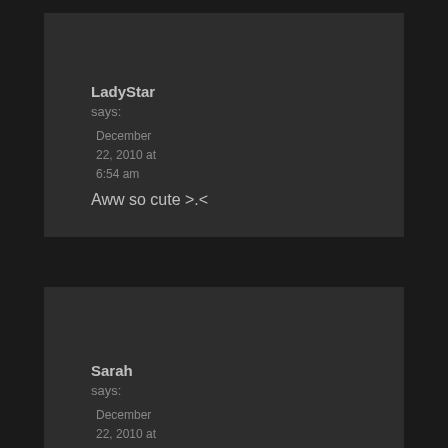LadyStar
says:
December 22, 2010 at 6:54 am
Aww so cute >.<
Sarah
says:
December 22, 2010 at 8:11 am